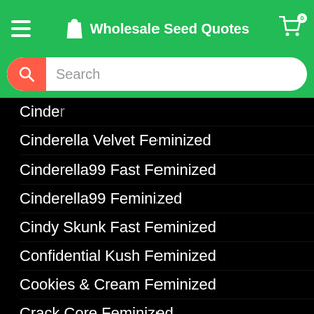Wholesale Seed Quotes
Cinder[ella] (partially obscured)
Cinderella Velvet Feminized
Cinderella99 Fast Feminized
Cinderella99 Feminized
Cindy Skunk Fast Feminized
Confidential Kush Feminized
Cookies & Cream Feminized
Crack Core Feminized
Cream Caramel Feminized
Critical + Feminized
Critical 2.0 Feminized
Critical 47 Feminized
Critical Amnesia Feminized
Critical Bilbo Feminized
Critical Blue Feminized